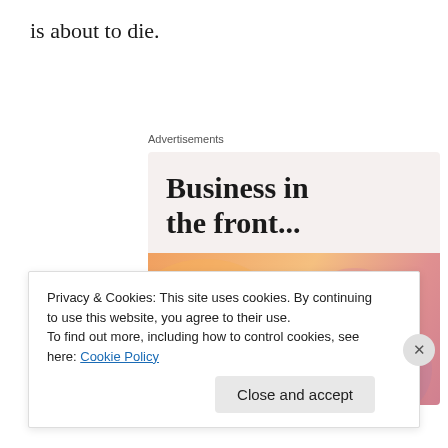is about to die.
Advertisements
[Figure (illustration): Advertisement banner with two sections: top light beige section with bold serif text 'Business in the front...' and bottom colorful gradient section (peach/orange/pink) with decorative blobs and bold serif text 'WordPress in the back.']
Privacy & Cookies: This site uses cookies. By continuing to use this website, you agree to their use.
To find out more, including how to control cookies, see here: Cookie Policy
Close and accept